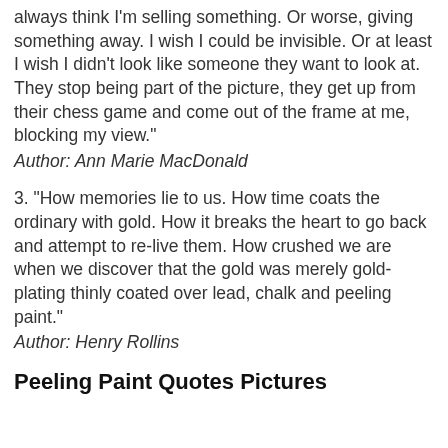always think I'm selling something. Or worse, giving something away. I wish I could be invisible. Or at least I wish I didn't look like someone they want to look at. They stop being part of the picture, they get up from their chess game and come out of the frame at me, blocking my view."
Author: Ann Marie MacDonald
3. "How memories lie to us. How time coats the ordinary with gold. How it breaks the heart to go back and attempt to re-live them. How crushed we are when we discover that the gold was merely gold-plating thinly coated over lead, chalk and peeling paint."
Author: Henry Rollins
Peeling Paint Quotes Pictures